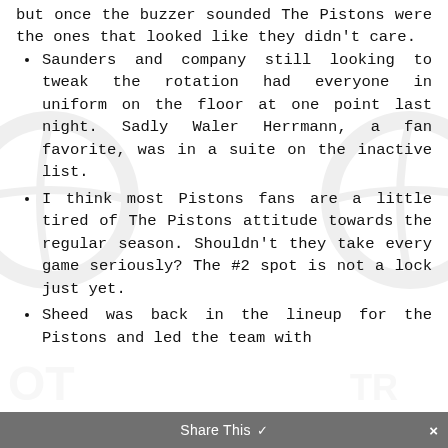but once the buzzer sounded The Pistons were the ones that looked like they didn't care.
Saunders and company still looking to tweak the rotation had everyone in uniform on the floor at one point last night. Sadly Waler Herrmann, a fan favorite, was in a suite on the inactive list.
I think most Pistons fans are a little tired of The Pistons attitude towards the regular season. Shouldn't they take every game seriously? The #2 spot is not a lock just yet.
Sheed was back in the lineup for the Pistons and led the team with
Share This ✓  ×